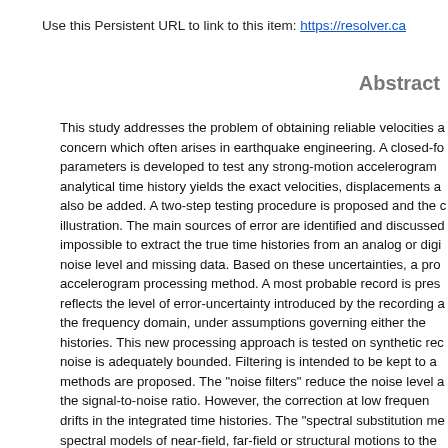Use this Persistent URL to link to this item: https://resolver.ca
Abstract
This study addresses the problem of obtaining reliable velocities a concern which often arises in earthquake engineering. A closed-fo parameters is developed to test any strong-motion accelerogram analytical time history yields the exact velocities, displacements a also be added. A two-step testing procedure is proposed and the illustration. The main sources of error are identified and discussed impossible to extract the true time histories from an analog or digi noise level and missing data. Based on these uncertainties, a pro accelerogram processing method. A most probable record is pres reflects the level of error-uncertainty introduced by the recording a in the frequency domain, under assumptions governing either the histories. This new processing approach is tested on synthetic rec noise is adequately bounded. Filtering is intended to be kept to a methods are proposed. The "noise filters" reduce the noise level a of the signal-to-noise ratio. However, the correction at low frequen drifts in the integrated time histories. The "spectral substitution me spectral models of near-field, far-field or structural motions to the extremes of the spectrum of the recorded data where noise and e removed, and statistical criteria provide the choice of the appropri has been applied to existing strong-motion far-field, near-field ano this correction method maintains the whole frequency range of the studying the long-period dynamics of local geology and structures